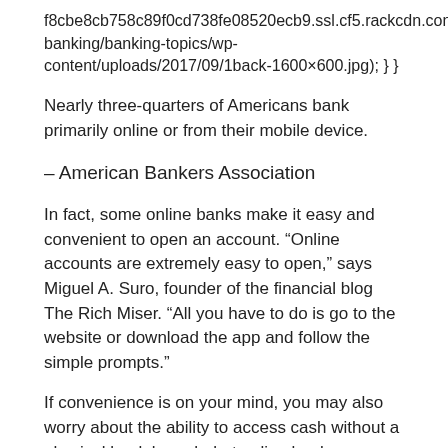f8cbe8cb758c89f0cd738fe08520ecb9.ssl.cf5.rackcdn.com/online-banking/banking-topics/wp-content/uploads/2017/09/1back-1600×600.jpg); } }
Nearly three-quarters of Americans bank primarily online or from their mobile device.
– American Bankers Association
In fact, some online banks make it easy and convenient to open an account. “Online accounts are extremely easy to open,” says Miguel A. Suro, founder of the financial blog The Rich Miser. “All you have to do is go to the website or download the app and follow the simple prompts.”
If convenience is on your mind, you may also worry about the ability to access cash without a physical bank branch, but online banks may have a large network of ATMs that you can use, Russell says. For instance, with Discover’s online checking account,